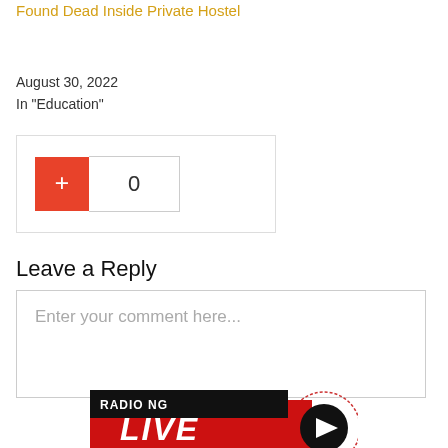Found Dead Inside Private Hostel
August 30, 2022
In "Education"
0
Leave a Reply
Enter your comment here...
[Figure (logo): Radio NG Live Streaming banner logo with red background, black bars, and circular play button]